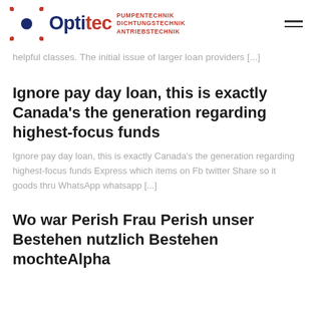Optitec — PUMPENTECHNIK DICHTUNGSTECHNIK ANTRIEBSTECHNIK
helpful classes. The initial issue of larger loan providers [...]
Ignore pay day loan, this is exactly Canada's the generation regarding highest-focus funds
Ignore pay day loan, this is exactly Canada's the generation regarding highest-focus funds Express which items on Fb twitter Share so it goods thru WhatsApp whatsapp [...]
Wo war Perish Frau Perish unser Bestehen nutzlich Bestehen mochteAlpha